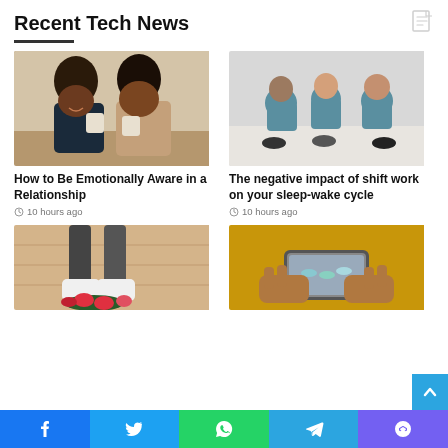Recent Tech News
[Figure (photo): Couple sitting together holding coffee mugs and smiling at each other]
How to Be Emotionally Aware in a Relationship
10 hours ago
[Figure (photo): Three medical workers in blue scrubs sitting on the floor looking exhausted]
The negative impact of shift work on your sleep-wake cycle
10 hours ago
[Figure (photo): Person standing on wooden floor next to crushed flowers]
[Figure (photo): Hands holding a phone with yellow background]